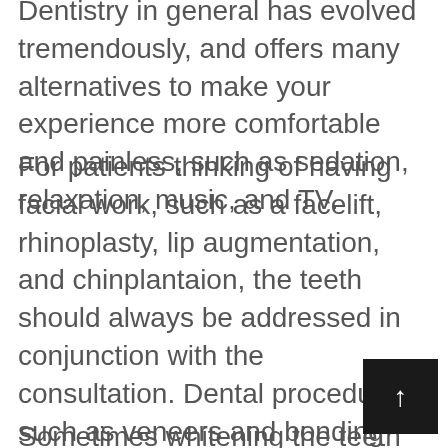Dentistry in general has evolved tremendously, and offers many alternatives to make your experience more comfortable and painless, such as sedation, relaxation, music, and TV.
For patients thinking of having facial work, such as a facelift, rhinoplasty, lip augmentation, and chinplantaion, the teeth should always be addressed in conjunction with the consultation. Dental procedures such as veneers and bonding can change the shape of the mouth and also the underlying volume and fullness around the upper and lower lips.
Sometimes whitening the teeth is all it